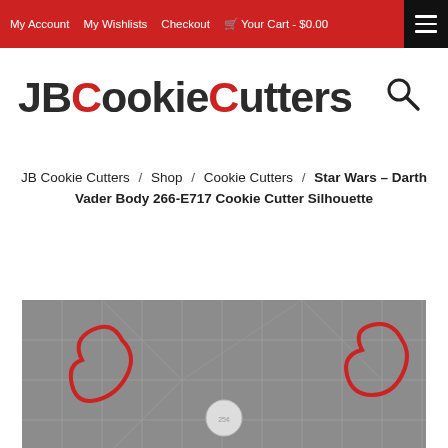My Account  My Wishlists  Checkout  Your Cart - $0.00
[Figure (logo): JBCookieCutters logo with red C and C letters, followed by search icon]
JB Cookie Cutters / Shop / Cookie Cutters / Star Wars – Darth Vader Body 266-E717 Cookie Cutter Silhouette
[Figure (photo): Photo of red cookie cutters on a grey grid mat background, with a coin for scale]